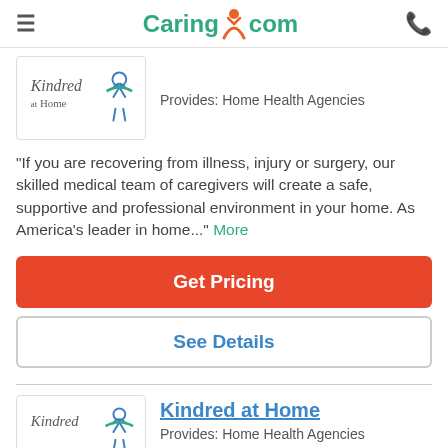Caring.com
[Figure (logo): Kindred at Home logo with blue figure]
Provides: Home Health Agencies
"If you are recovering from illness, injury or surgery, our skilled medical team of caregivers will create a safe, supportive and professional environment in your home. As America's leader in home..." More
Get Pricing
See Details
[Figure (logo): Kindred at Home logo with blue figure]
Kindred at Home
Provides: Home Health Agencies